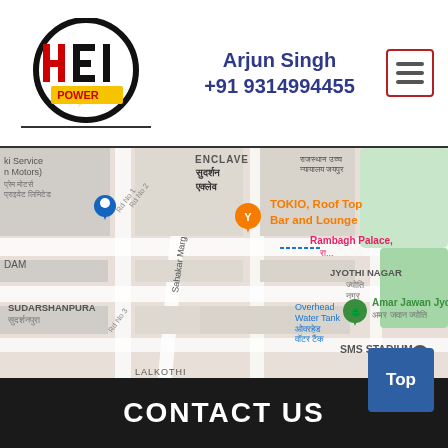[Figure (logo): HEI Power company logo — circular black ring with stylized HEI text in red and black, POWER text below in red on yellow background]
Arjun Singh
+91 9314994455
[Figure (other): Hamburger/menu icon button with three horizontal lines, red border]
[Figure (map): Google Maps screenshot showing Jaipur area including SUDARSHANPURA, JYOTHI NAGAR, Rambagh Palace, Amar Jawan Jyoti, SMS STADIUM, TOKIO Roof Top Bar and Lounge, Overhead Water Tank]
Top
CONTACT US